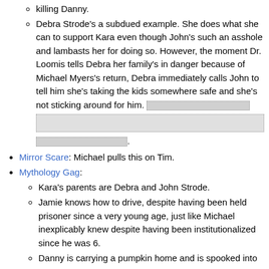killing Danny.
Debra Strode's a subdued example. She does what she can to support Kara even though John's such an asshole and lambasts her for doing so. However, the moment Dr. Loomis tells Debra her family's in danger because of Michael Myers's return, Debra immediately calls John to tell him she's taking the kids somewhere safe and she's not sticking around for him. [redacted] [redacted] [redacted].
Mirror Scare: Michael pulls this on Tim.
Mythology Gag:
Kara's parents are Debra and John Strode.
Jamie knows how to drive, despite having been held prisoner since a very young age, just like Michael inexplicably knew despite having been institutionalized since he was 6.
Danny is carrying a pumpkin home and is spooked into